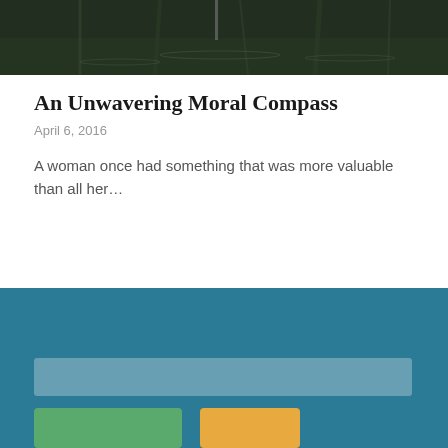[Figure (photo): Dark nature photo showing water reflections and trees, used as a banner image for the article]
An Unwavering Moral Compass
April 6, 2016
A woman once had something that was more valuable than all her…
[Figure (infographic): Teal footer area containing a search bar and two buttons (green and yellow/orange)]